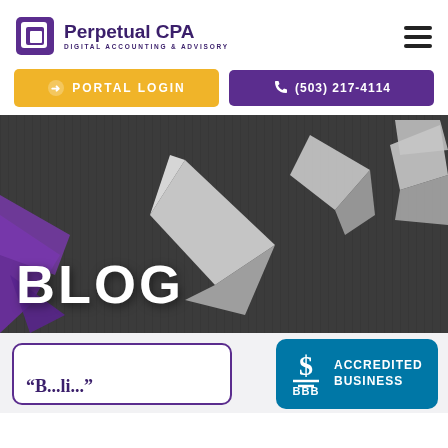[Figure (logo): Perpetual CPA logo with purple square icon and text 'Perpetual CPA / DIGITAL ACCOUNTING & ADVISORY']
[Figure (other): Hamburger menu icon (three horizontal bars) in top right]
[Figure (other): Two navigation buttons: yellow 'PORTAL LOGIN' and purple '(503) 217-4114']
[Figure (photo): Hero banner with grayscale image of geometric paper origami shapes on dark wood background, with purple origami on the left]
BLOG
[Figure (logo): BBB Accredited Business badge in teal/blue with BBB logo and text 'ACCREDITED BUSINESS']
“B...li...” (partial blog card title, text cropped)